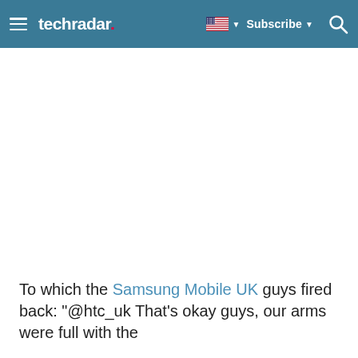techradar — Subscribe
To which the Samsung Mobile UK guys fired back: "@htc_uk That's okay guys, our arms were full with the